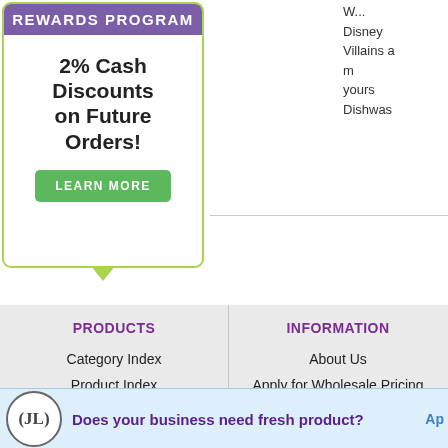[Figure (infographic): Rewards Program promotional box with green border, purple header reading REWARDS PROGRAM, bold text '2% Cash Discounts on Future Orders!', and a green LEARN MORE button]
Disney Villains and more yourselves Dishwas
PRODUCTS
Category Index
Product Index
Closeout
New Items
INFORMATION
About Us
Apply for Wholesale Pricing
About Wholesale Products
2019 Online Resort Catalog
Te
© 2011 Jerry Leigh. All Rights Reserved.
Built with VolusionBrand Labs
Does your business need fresh product?  Ap